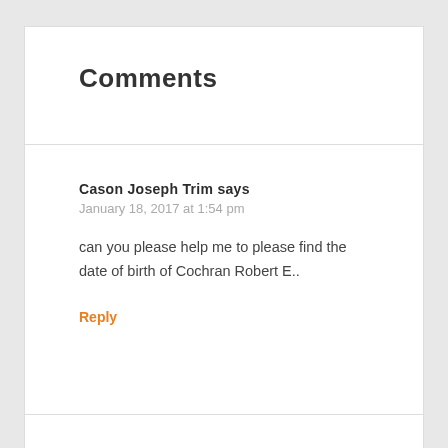Comments
Cason Joseph Trim says
January 18, 2017 at 1:54 pm
can you please help me to please find the date of birth of Cochran Robert E..
Reply